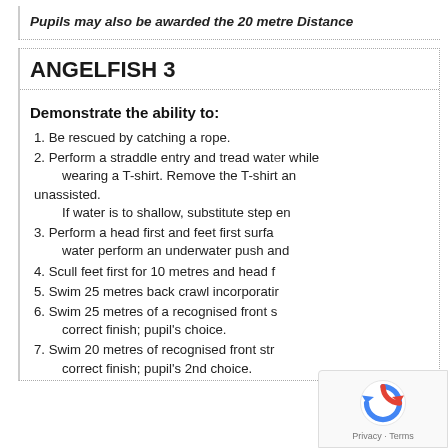Pupils may also be awarded the 20 metre Distance
ANGELFISH 3
Demonstrate the ability to:
1. Be rescued by catching a rope.
2. Perform a straddle entry and tread water while wearing a T-shirt. Remove the T-shirt and swim unassisted. If water is to shallow, substitute step en…
3. Perform a head first and feet first surface dive; in shallow water perform an underwater push and…
4. Scull feet first for 10 metres and head first…
5. Swim 25 metres back crawl incorporating…
6. Swim 25 metres of a recognised front stroke with a correct finish; pupil's choice.
7. Swim 20 metres of recognised front stroke with a correct finish; pupil's 2nd choice.